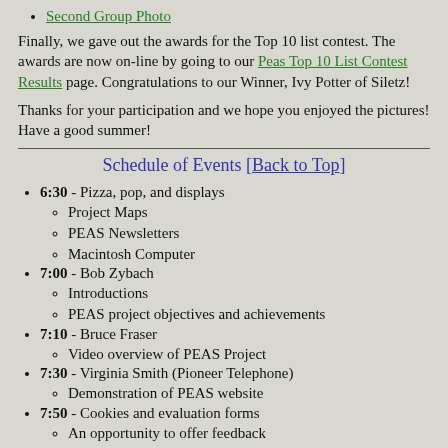Second Group Photo
Finally, we gave out the awards for the Top 10 list contest. The awards are now on-line by going to our Peas Top 10 List Contest Results page. Congratulations to our Winner, Ivy Potter of Siletz!
Thanks for your participation and we hope you enjoyed the pictures! Have a good summer!
Schedule of Events [Back to Top]
6:30 - Pizza, pop, and displays
Project Maps
PEAS Newsletters
Macintosh Computer
7:00 - Bob Zybach
Introductions
PEAS project objectives and achievements
7:10 - Bruce Fraser
Video overview of PEAS Project
7:30 - Virginia Smith (Pioneer Telephone)
Demonstration of PEAS website
7:50 - Cookies and evaluation forms
An opportunity to offer feedback